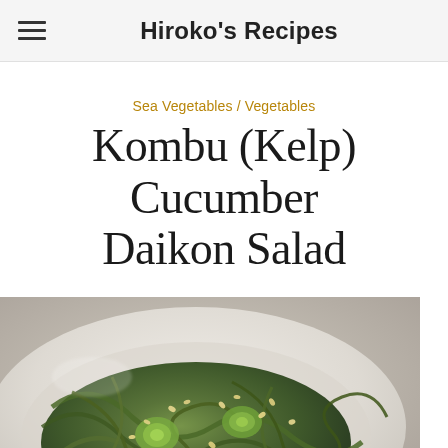Hiroko's Recipes
Sea Vegetables / Vegetables
Kombu (Kelp) Cucumber Daikon Salad
[Figure (photo): A white bowl containing Kombu (Kelp) Cucumber Daikon Salad — dark brown/olive-green kelp strands tangled with sliced cucumbers, garnished with sesame seeds, on a white ceramic plate against a light background.]